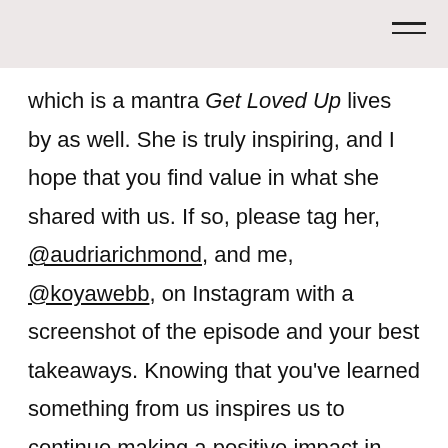which is a mantra Get Loved Up lives by as well. She is truly inspiring, and I hope that you find value in what she shared with us. If so, please tag her, @audriarichmond, and me, @koyawebb, on Instagram with a screenshot of the episode and your best takeaways. Knowing that you've learned something from us inspires us to continue making a positive impact in this world.
Until next time, love — allow yourself to heal, so it'll lead you to personal